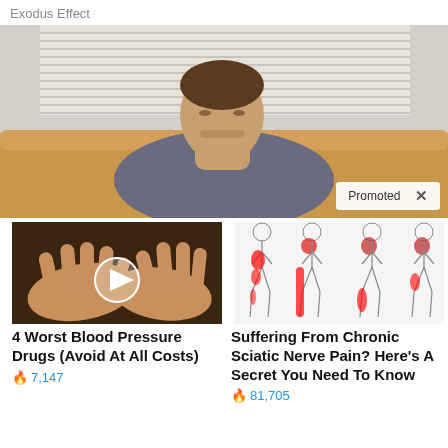Exodus Effect
[Figure (photo): Man lying on a couch with head tilted back, with horizontal blinds visible in background. Promoted badge in lower right corner.]
[Figure (photo): Close-up of two hands palm-up with a video play button overlay]
4 Worst Blood Pressure Drugs (Avoid At All Costs)
🔥 7,147
[Figure (illustration): Medical illustration showing human body outlines with red pain areas indicating sciatic nerve pain locations]
Suffering From Chronic Sciatic Nerve Pain? Here's A Secret You Need To Know
🔥 81,705